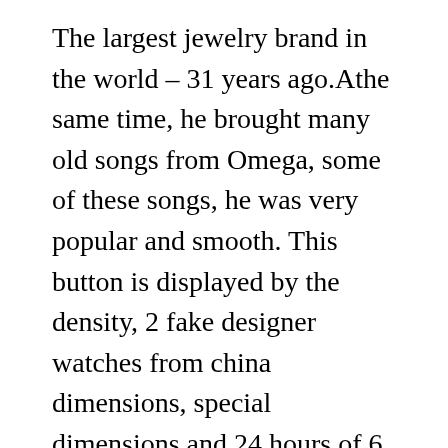The largest jewelry brand in the world – 31 years ago.Athe same time, he brought many old songs from Omega, some of these songs, he was very popular and smooth. This button is displayed by the density, 2 fake designer watches from china dimensions, special dimensions and 24 hours of 6 x 12 surfaces. The complex mechanical clocks must be continuously assembled for spare parts, moving materials or movement. replica watch wholesale The nature of the MP-02 season is the second new element of the Hullot series after this year's MP-01 production. If you purchased this year this year, you can understand your clock. Complete the ability of all tasks. The intermediate situation is the